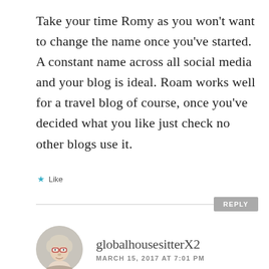Take your time Romy as you won't want to change the name once you've started. A constant name across all social media and your blog is ideal. Roam works well for a travel blog of course, once you've decided what you like just check no other blogs use it.
★ Like
REPLY
[Figure (photo): Circular avatar photo of an older woman with short blonde/white hair and glasses, against a light gray background]
globalhousesitterX2
MARCH 15, 2017 AT 7:01 PM